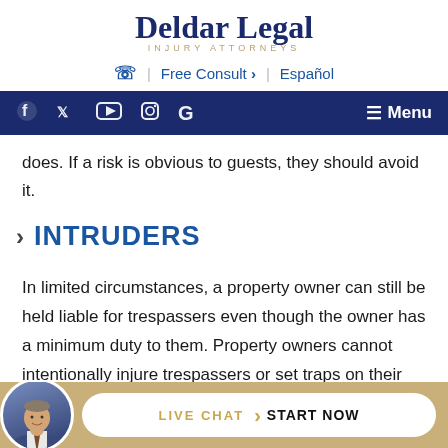Deldar Legal
INJURY ATTORNEYS
☎ | Free Consult > | Español
Social icons: Facebook, Twitter, YouTube, Instagram, Google | ☰ Menu
does. If a risk is obvious to guests, they should avoid it.
> INTRUDERS
In limited circumstances, a property owner can still be held liable for trespassers even though the owner has a minimum duty to them. Property owners cannot intentionally injure trespassers or set traps on their prop
[Figure (other): Live chat bar with attorney avatar, LIVE CHAT > START NOW button]